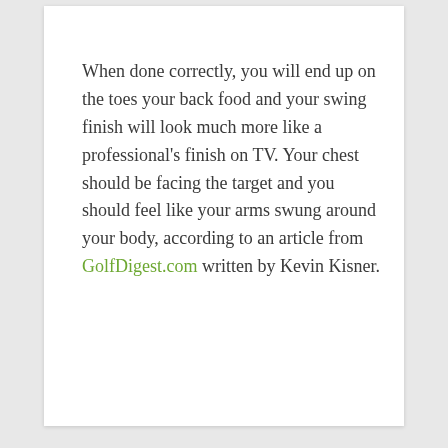When done correctly, you will end up on the toes your back food and your swing finish will look much more like a professional's finish on TV. Your chest should be facing the target and you should feel like your arms swung around your body, according to an article from GolfDigest.com written by Kevin Kisner.